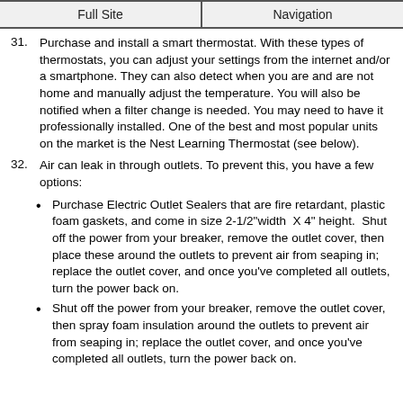Full Site | Navigation
31. Purchase and install a smart thermostat. With these types of thermostats, you can adjust your settings from the internet and/or a smartphone. They can also detect when you are and are not home and manually adjust the temperature. You will also be notified when a filter change is needed. You may need to have it professionally installed. One of the best and most popular units on the market is the Nest Learning Thermostat (see below).
32. Air can leak in through outlets. To prevent this, you have a few options:
Purchase Electric Outlet Sealers that are fire retardant, plastic foam gaskets, and come in size 2-1/2"width  X 4" height.  Shut off the power from your breaker, remove the outlet cover, then place these around the outlets to prevent air from seaping in; replace the outlet cover, and once you've completed all outlets, turn the power back on.
Shut off the power from your breaker, remove the outlet cover, then spray foam insulation around the outlets to prevent air from seaping in; replace the outlet cover, and once you've completed all outlets, turn the power back on.